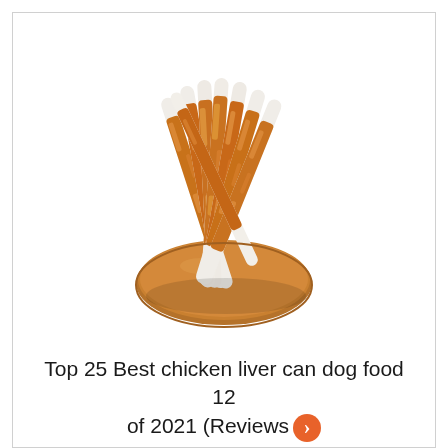[Figure (photo): Chicken-wrapped rawhide treat sticks arranged on a round wooden plate, viewed from above. The sticks are white at the tips and wrapped in golden-brown shredded chicken along the body.]
Top 25 Best chicken liver can dog food 12 of 2021 (Reviews…